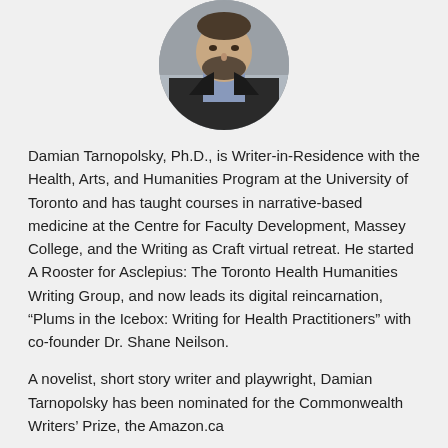[Figure (photo): Circular cropped headshot photo of a man with a beard wearing a dark jacket and light blue shirt, photographed outdoors against a brick wall background.]
Damian Tarnopolsky, Ph.D., is Writer-in-Residence with the Health, Arts, and Humanities Program at the University of Toronto and has taught courses in narrative-based medicine at the Centre for Faculty Development, Massey College, and the Writing as Craft virtual retreat. He started A Rooster for Asclepius: The Toronto Health Humanities Writing Group, and now leads its digital reincarnation, “Plums in the Icebox: Writing for Health Practitioners” with co-founder Dr. Shane Neilson.
A novelist, short story writer and playwright, Damian Tarnopolsky has been nominated for the Commonwealth Writers’ Prize, the Amazon.ca